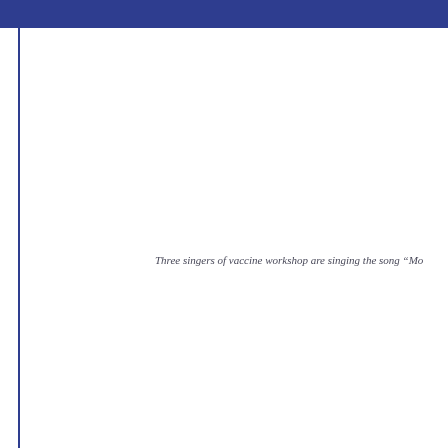Three singers of vaccine workshop are singing the song “Mo